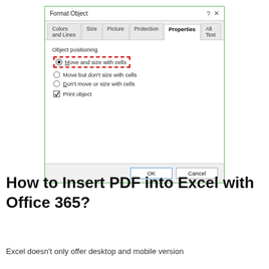[Figure (screenshot): Screenshot of Microsoft Excel 'Format Object' dialog box showing the Properties tab selected. The dialog has tabs: Colors and Lines, Size, Picture, Protection, Properties (active), Alt Text. Under 'Object positioning', the 'Move and size with cells' radio button is selected and highlighted with a red dashed border. Other options: 'Move but don't size with cells' and 'Don't move or size with cells'. A 'Print object' checkbox (checked) is shown. OK and Cancel buttons appear at the bottom.]
How to Insert PDF into Excel with Office 365?
Excel doesn't only offer desktop and mobile version